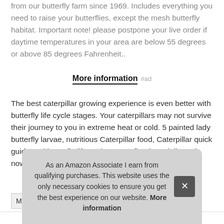from our butterfly farm since 1969. Includes everything you need to raise your butterflies, except the mesh butterfly habitat. Important note! please postpone your live order if daytime temperatures in your area are below 55 degrees or above 85 degrees Fahrenheit..
More information #ad
The best caterpillar growing experience is even better with butterfly life cycle stages. Your caterpillars may not survive their journey to you in extreme heat or cold. 5 painted lady butterfly larvae, nutritious Caterpillar food, Caterpillar quick guide and butterfly life cycle stages figurines delivered now.
As an Amazon Associate I earn from qualifying purchases. This website uses the only necessary cookies to ensure you get the best experience on our website. More information
| Ma |
| Height | 2 Inches |